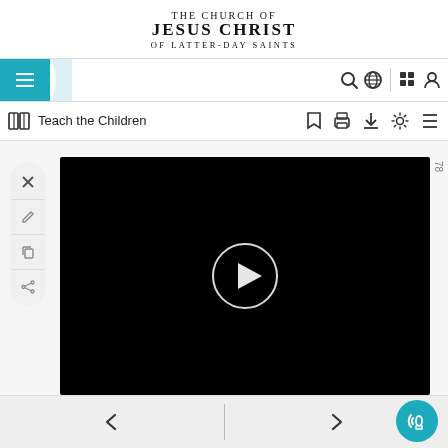[Figure (logo): The Church of Jesus Christ of Latter-day Saints logo/wordmark]
[Figure (screenshot): Website navigation bar with hamburger menu, search, globe, grid, and user icons]
[Figure (screenshot): Document toolbar showing book icon, 'Teach the Children' title, and bookmark, print, download, settings, list icons]
[Figure (screenshot): Video player (black) with play button circle, side toolbar with X, pen, copy, share icons, page number 78]
[Figure (screenshot): Bottom navigation bar with back arrow, forward arrow, and teal audio/headphone button]